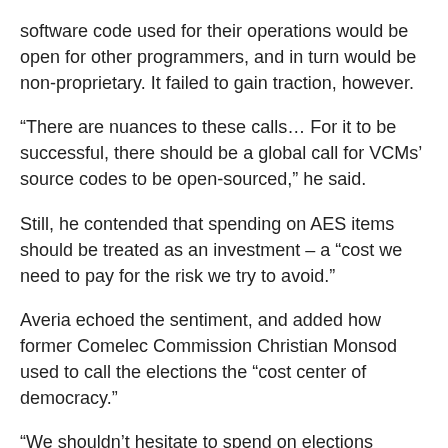software code used for their operations would be open for other programmers, and in turn would be non-proprietary. It failed to gain traction, however.
“There are nuances to these calls… For it to be successful, there should be a global call for VCMs’ source codes to be open-sourced,” he said.
Still, he contended that spending on AES items should be treated as an investment – a “cost we need to pay for the risk we try to avoid.”
Averia echoed the sentiment, and added how former Comelec Commission Christian Monsod used to call the elections the “cost center of democracy.”
“We shouldn’t hesitate to spend on elections because that is the time na pantay-pantay nga ‘yung citizens, especially the electorate,” Averia said. –BCLL, May 2022